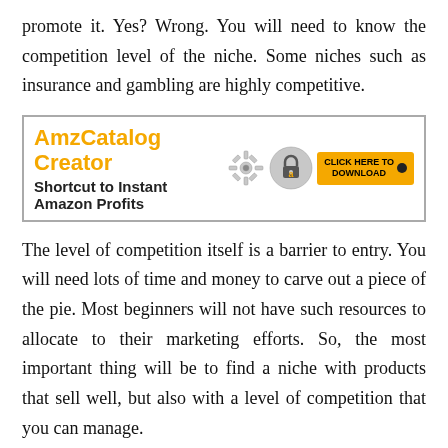promote it. Yes? Wrong. You will need to know the competition level of the niche. Some niches such as insurance and gambling are highly competitive.
[Figure (other): Advertisement banner for AmzCatalog Creator - Shortcut to Instant Amazon Profits with gear icons and a click here to download button]
The level of competition itself is a barrier to entry. You will need lots of time and money to carve out a piece of the pie. Most beginners will not have such resources to allocate to their marketing efforts. So, the most important thing will be to find a niche with products that sell well, but also with a level of competition that you can manage.
How to Choose a Niche